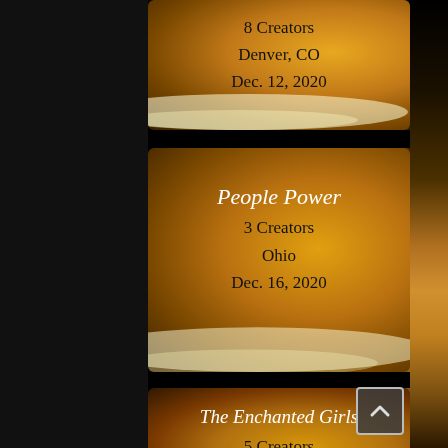8 Creators
Denver, CO
Dec. 12, 2020
People Power
3 Creators
Ohio
Dec. 16, 2020
The Enchanted Girls
5 Creators
Santa Fe, NM
Dec. 18, 2020